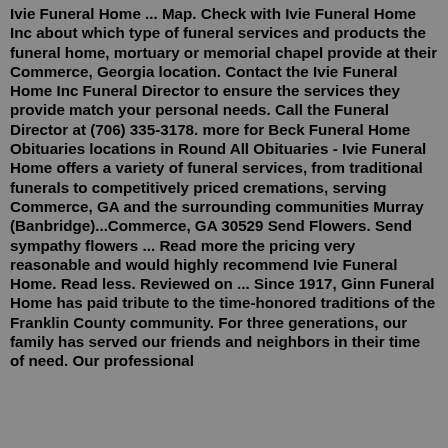Ivie Funeral Home ... Map. Check with Ivie Funeral Home Inc about which type of funeral services and products the funeral home, mortuary or memorial chapel provide at their Commerce, Georgia location. Contact the Ivie Funeral Home Inc Funeral Director to ensure the services they provide match your personal needs. Call the Funeral Director at (706) 335-3178. more for Beck Funeral Home Obituaries locations in Round All Obituaries - Ivie Funeral Home offers a variety of funeral services, from traditional funerals to competitively priced cremations, serving Commerce, GA and the surrounding communities Murray (Banbridge)...Commerce, GA 30529 Send Flowers. Send sympathy flowers ... Read more the pricing very reasonable and would highly recommend Ivie Funeral Home. Read less. Reviewed on ... Since 1917, Ginn Funeral Home has paid tribute to the time-honored traditions of the Franklin County community. For three generations, our family has served our friends and neighbors in their time of need. Our professional